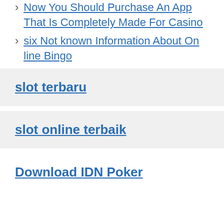Now You Should Purchase An App That Is Completely Made For Casino
six Not known Information About On line Bingo
slot terbaru
slot online terbaik
Download IDN Poker